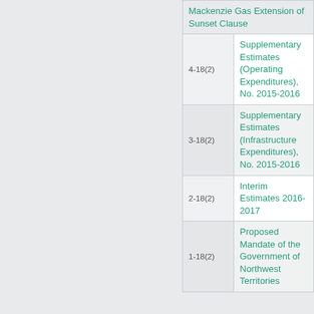| Number | Title |
| --- | --- |
|  | Mackenzie Gas Extension of Sunset Clause |
| 4-18(2) | Supplementary Estimates (Operating Expenditures), No. 2015-2016 |
| 3-18(2) | Supplementary Estimates (Infrastructure Expenditures), No. 2015-2016 |
| 2-18(2) | Interim Estimates 2016-2017 |
| 1-18(2) | Proposed Mandate of the Government of Northwest Territories |